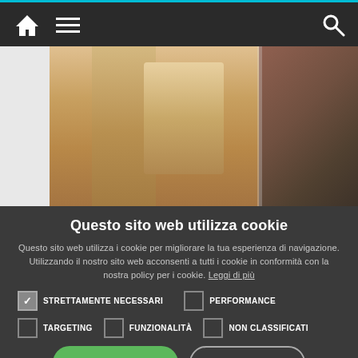Navigation bar with home, menu, and search icons
[Figure (photo): Before/after body composition photos showing torsos, partially visible, some with white background on left, center lighter toned, right darker background]
Questo sito web utilizza cookie
Questo sito web utilizza i cookie per migliorare la tua esperienza di navigazione. Utilizzando il nostro sito web acconsenti a tutti i cookie in conformità con la nostra policy per i cookie. Leggi di più
STRETTAMENTE NECESSARI (checked)
PERFORMANCE
TARGETING
FUNZIONALITÀ
NON CLASSIFICATI
ACCETTA TUTTO
RIFIUTA TUTTO
MOSTRA DETTAGLI